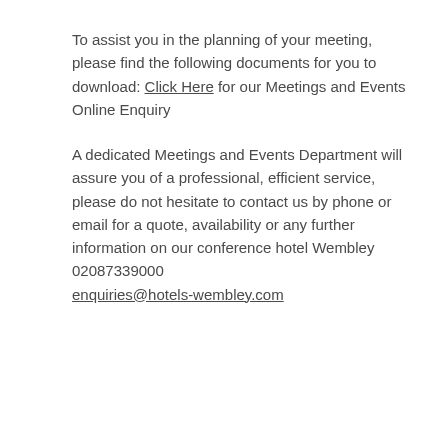To assist you in the planning of your meeting, please find the following documents for you to download: Click Here for our Meetings and Events Online Enquiry
A dedicated Meetings and Events Department will assure you of a professional, efficient service, please do not hesitate to contact us by phone or email for a quote, availability or any further information on our conference hotel Wembley 02087339000 enquiries@hotels-wembley.com